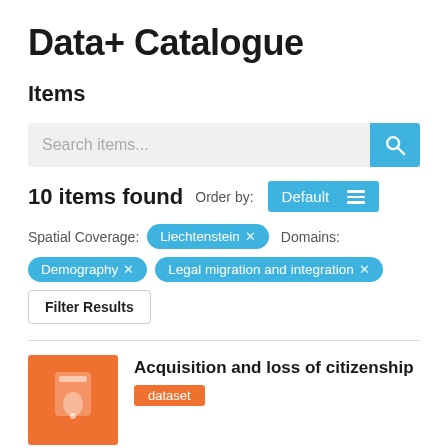Data+ Catalogue
Items
Search items...
10 items found  Order by:  Default
Spatial Coverage: Liechtenstein ×  Domains:
Demography ×  Legal migration and integration ×
Filter Results
Acquisition and loss of citizenship
dataset